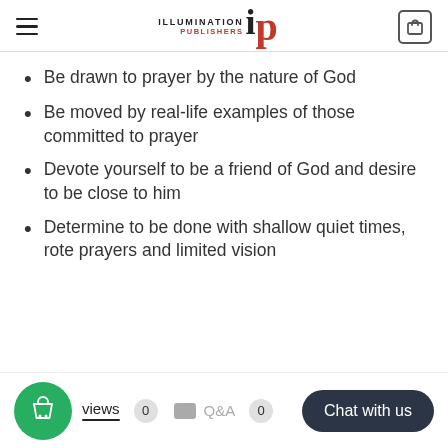Illumination Publishers
Be drawn to prayer by the nature of God
Be moved by real-life examples of those committed to prayer
Devote yourself to be a friend of God and desire to be close to him
Determine to be done with shallow quiet times, rote prayers and limited vision
Reviews 0  Q&A 0  Chat with us